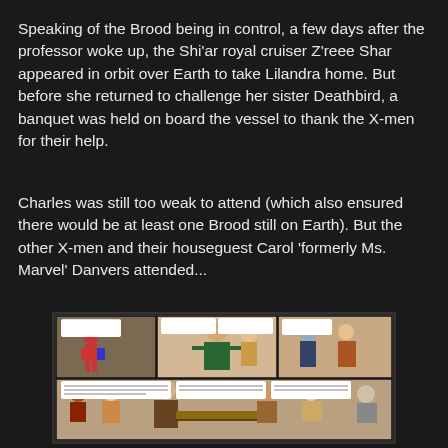Speaking of the Brood being in control, a few days after the professor woke up, the Shi'ar royal cruiser Z'reee Shar appeared in orbit over Earth to take Lilandra home. But before she returned to challenge her sister Deathbird, a banquet was held on board the vessel to thank the X-men for their help.
Charles was still too weak to attend (which also ensured there would be at least one Brood still on Earth). But the other X-men and their houseguest Carol 'formerly Ms. Marvel' Danvers attended...
[Figure (illustration): A comic book panel showing X-Men characters at a banquet on the Shi'ar royal cruiser. Multiple panels show characters including Carol Danvers and other X-Men at the gathering, with speech bubbles visible.]